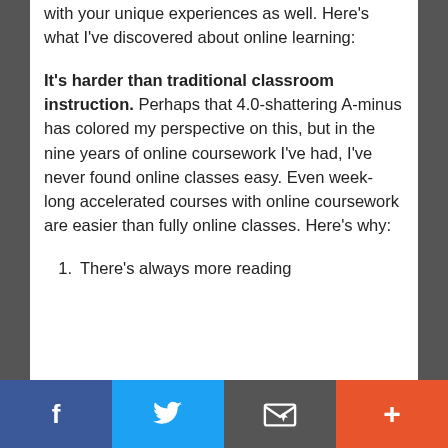with your unique experiences as well. Here's what I've discovered about online learning:
It's harder than traditional classroom instruction. Perhaps that 4.0-shattering A-minus has colored my perspective on this, but in the nine years of online coursework I've had, I've never found online classes easy. Even week-long accelerated courses with online coursework are easier than fully online classes. Here's why:
There's always more reading
Facebook | Twitter | Email | +